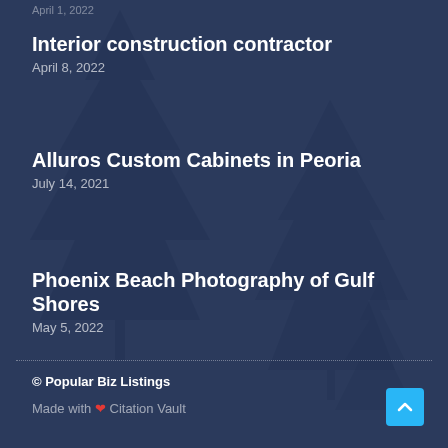Interior construction contractor
April 8, 2022
Alluros Custom Cabinets in Peoria
July 14, 2021
Phoenix Beach Photography of Gulf Shores
May 5, 2022
© Popular Biz Listings
Made with ❤ Citation Vault